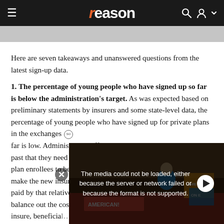reason
[Figure (screenshot): Partially visible image bar (gray placeholder) below the navigation bar]
Here are seven takeaways and unanswered questions from the latest sign-up data.
1. The percentage of young people who have signed up so far is below the administration's target. As was expected based on preliminary statements by insurers and some state-level data, the percentage of young people who have signed up for private plans in the exchanges so far is low. Admi[nistration officials have said in the] past that they n[eed around 40 percent of private] plan enrollees t[o be young adults in order to] make the new i[nsurance pools work, since the premiums] paid by that rel[atively healthy group are needed to] balance out the [costs of older, sicker people they] insure, beneficia[ting…]
[Figure (screenshot): Video overlay showing error message: 'The media could not be loaded, either because the server or network failed or because the format is not supported.' with play button and close button, overlaid on a protest image background]